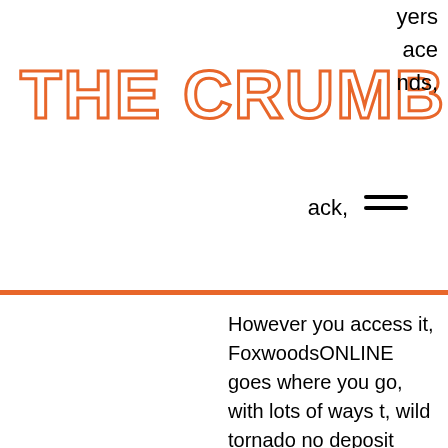THE CRUMB
yers ace nds, ack,
However you access it, FoxwoodsONLINE goes where you go, with lots of ways t, wild tornado no deposit codes. Simply click and sign up in seconds to enjoy over 150 games, including popular slot titles, table games, bingo, keno, and more.
Www free casino slot games for fun, bitstarz owner
And just like that, bingo was born. Today, 48 states (and more than 100 Native American reservations) offer legal bingo